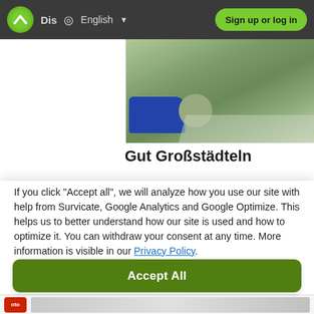Dis  🌐 English ▾  Sign up or log in
[Figure (screenshot): Partial webpage screenshot showing top navigation bar with logo, 'Dis', globe icon, 'English' with dropdown, and 'Sign up or log in' green button. Below is a photo of a parking area with landscaping and a blue car, partially showing German text 'Gut Großstädteln'.]
If you click "Accept all", we will analyze how you use our site with help from Survicate, Google Analytics and Google Optimize. This helps us to better understand how our site is used and how to optimize it. You can withdraw your consent at any time. More information is visible in our Privacy Policy.
Accept All
Decline
Details